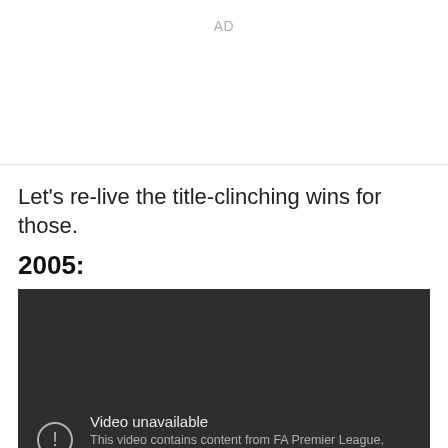AD
Let's re-live the title-clinching wins for those.
2005:
[Figure (screenshot): A dark video embed placeholder showing 'Video unavailable' message with an exclamation mark icon. Text reads: 'This video contains content from FA Premier League, who has blocked it on copyright grounds']